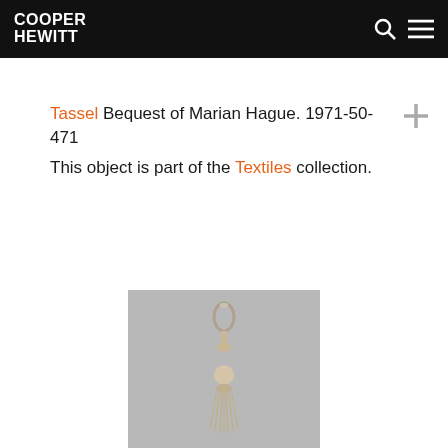COOPER HEWITT
Tassel Bequest of Marian Hague. 1971-50-471
This object is part of the Textiles collection.
[Figure (photo): Photograph of a tassel object on a gray background, showing a decorative elongated tassel with metallic loop at top and rounded body with hanging fringe]